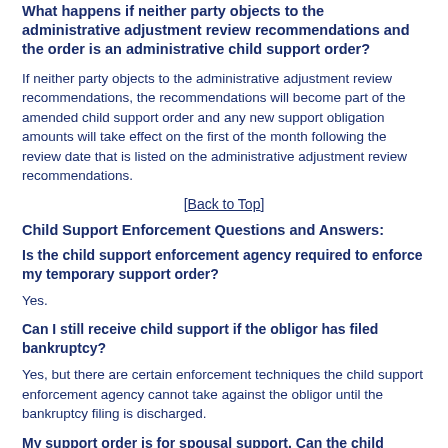What happens if neither party objects to the administrative adjustment review recommendations and the order is an administrative child support order?
If neither party objects to the administrative adjustment review recommendations, the recommendations will become part of the amended child support order and any new support obligation amounts will take effect on the first of the month following the review date that is listed on the administrative adjustment review recommendations.
[Back to Top]
Child Support Enforcement Questions and Answers:
Is the child support enforcement agency required to enforce my temporary support order?
Yes.
Can I still receive child support if the obligor has filed bankruptcy?
Yes, but there are certain enforcement techniques the child support enforcement agency cannot take against the obligor until the bankruptcy filing is discharged.
My support order is for spousal support. Can the child support enforcement agency (CSEA) still enforce my case?